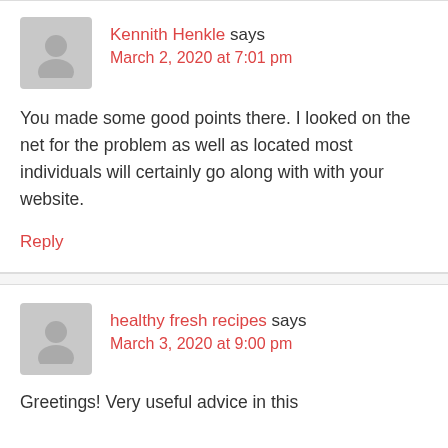Kennith Henkle says
March 2, 2020 at 7:01 pm
You made some good points there. I looked on the net for the problem as well as located most individuals will certainly go along with with your website.
Reply
healthy fresh recipes says
March 3, 2020 at 9:00 pm
Greetings! Very useful advice in this